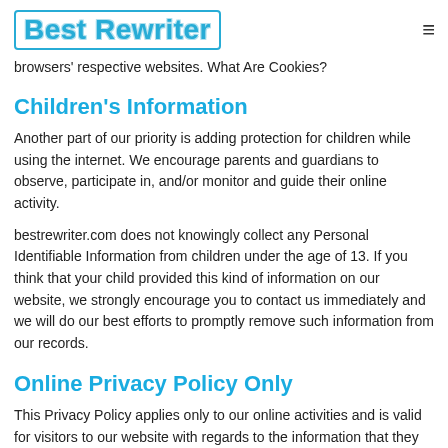Best Rewriter
browsers' respective websites. What Are Cookies?
Children's Information
Another part of our priority is adding protection for children while using the internet. We encourage parents and guardians to observe, participate in, and/or monitor and guide their online activity.
bestrewriter.com does not knowingly collect any Personal Identifiable Information from children under the age of 13. If you think that your child provided this kind of information on our website, we strongly encourage you to contact us immediately and we will do our best efforts to promptly remove such information from our records.
Online Privacy Policy Only
This Privacy Policy applies only to our online activities and is valid for visitors to our website with regards to the information that they